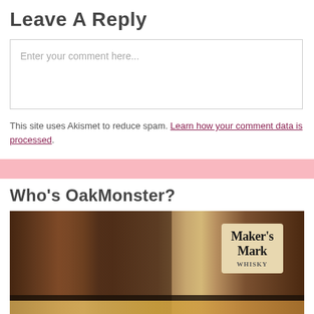Leave A Reply
Enter your comment here...
This site uses Akismet to reduce spam. Learn how your comment data is processed.
Who's OakMonster?
[Figure (photo): A blurry photo of a bar shelf showing a Maker's Mark whiskey bottle label prominently on the right, with other bottles in the background, and what appears to be a red/orange label item at the bottom.]